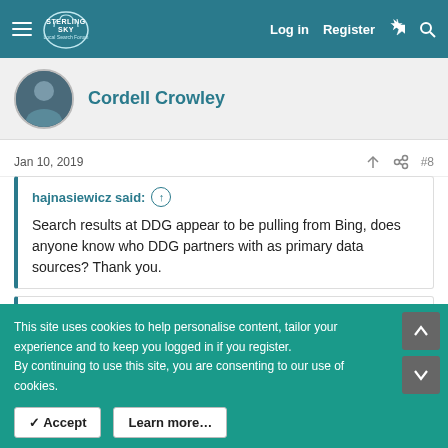Sterling Sky Local Search Forum — Log in | Register
Cordell Crowley
Jan 10, 2019  #8
hajnasiewicz said: ↑

Search results at DDG appear to be pulling from Bing, does anyone know who DDG partners with as primary data sources? Thank you.
djbaxter said: ↑

I also wonder who is even using Duck Duck Go, I keep seeing
This site uses cookies to help personalise content, tailor your experience and to keep you logged in if you register.
By continuing to use this site, you are consenting to our use of cookies.